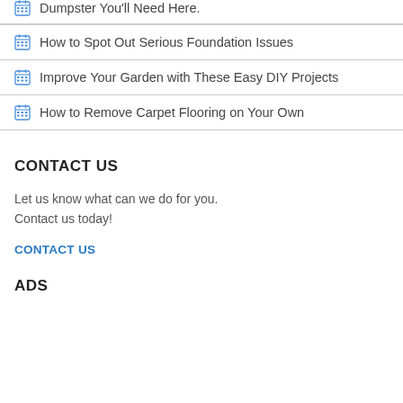Dumpster You'll Need Here.
How to Spot Out Serious Foundation Issues
Improve Your Garden with These Easy DIY Projects
How to Remove Carpet Flooring on Your Own
CONTACT US
Let us know what can we do for you. Contact us today!
CONTACT US
ADS